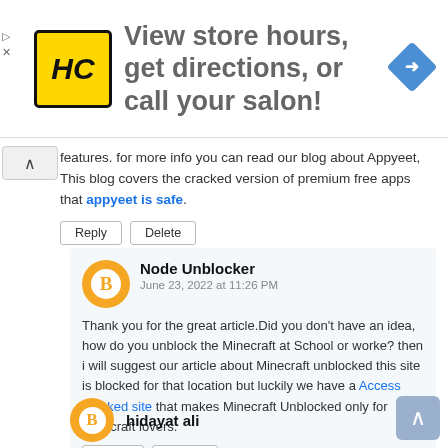[Figure (other): Advertisement banner: HC logo (yellow square with black HC text), text 'View store hours, get directions, or call your salon!', and a blue diamond navigation icon on the right.]
features. for more info you can read our blog about Appyeet, This blog covers the cracked version of premium free apps that appyeet is safe.
Reply   Delete
Node Unblocker
June 23, 2022 at 11:26 PM

Thank you for the great article.Did you don't have an idea, how do you unblock the Minecraft at School or worke? then i will suggest our article about Minecraft unblocked this site is blocked for that location but luckily we have a Access Blocked site that makes Minecraft Unblocked only for Minecraft lovers.

Reply   Delete
hidayat ali